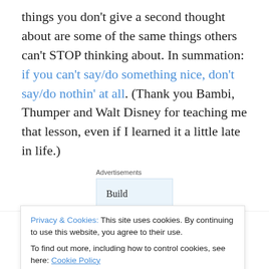things you don't give a second thought about are some of the same things others can't STOP thinking about. In summation: if you can't say/do something nice, don't say/do nothin' at all. (Thank you Bambi, Thumper and Walt Disney for teaching me that lesson, even if I learned it a little late in life.)
[Figure (other): Advertisement banner: 'Build a writing habit. Post on the go.' with WordPress logo and GET THE APP button]
One of the questions I get asked most when talking about
Privacy & Cookies: This site uses cookies. By continuing to use this website, you agree to their use. To find out more, including how to control cookies, see here: Cookie Policy
happen for a reason. You were rehearsed not once, but